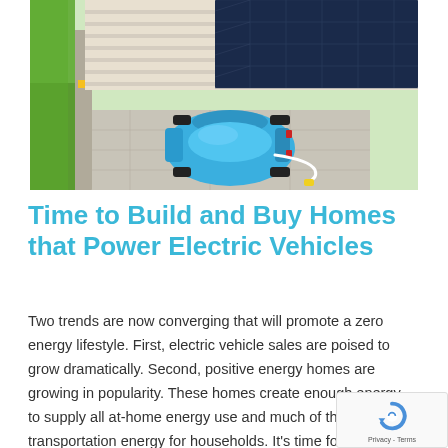[Figure (illustration): Aerial/top-down 3D illustration of a blue electric car plugged in and charging beneath a solar panel carport/garage structure with green grass visible on the left side.]
Time to Build and Buy Homes that Power Electric Vehicles
Two trends are now converging that will promote a zero energy lifestyle. First, electric vehicle sales are poised to grow dramatically. Second, positive energy homes are growing in popularity. These homes create enough energy to supply all at-home energy use and much of the transportation energy for households. It's time for building professionals to build positive energy homes for